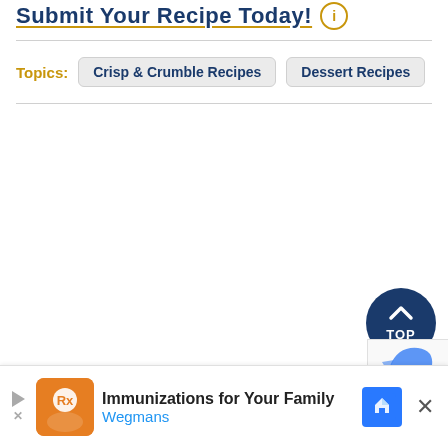Submit Your Recipe Today!
Topics:  Crisp & Crumble Recipes  Dessert Recipes
[Figure (screenshot): Back to top button - dark blue circle with upward arrow and 'TOP' text]
[Figure (screenshot): reCAPTCHA widget partial view]
Immunizations for Your Family Wegmans